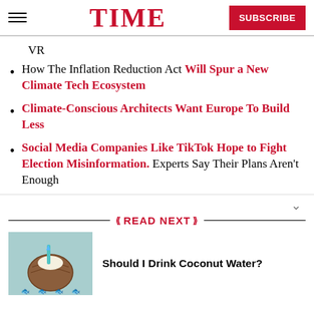TIME  SUBSCRIBE
VR
How The Inflation Reduction Act Will Spur a New Climate Tech Ecosystem
Climate-Conscious Architects Want Europe To Build Less
Social Media Companies Like TikTok Hope to Fight Election Misinformation. Experts Say Their Plans Aren’t Enough
READ NEXT
Should I Drink Coconut Water?